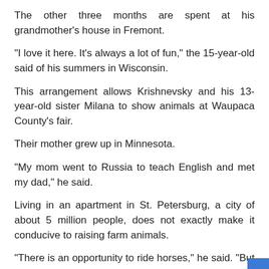The other three months are spent at his grandmother's house in Fremont.
“I love it here. It’s always a lot of fun,” the 15-year-old said of his summers in Wisconsin.
This arrangement allows Krishnevsky and his 13-year-old sister Milana to show animals at Waupaca County’s fair.
Their mother grew up in Minnesota.
“My mom went to Russia to teach English and met my dad,” he said.
Living in an apartment in St. Petersburg, a city of about 5 million people, does not exactly make it conducive to raising farm animals.
“There is an opportunity to ride horses,” he said. “But I’m not really friends with horses.”